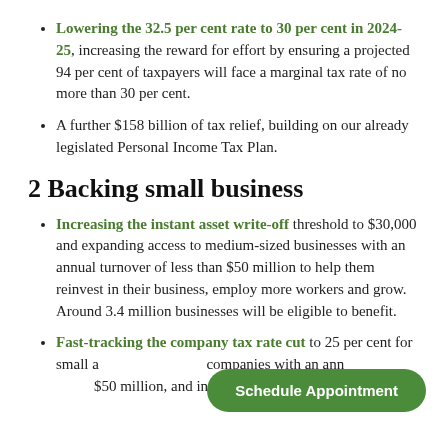Lowering the 32.5 per cent rate to 30 per cent in 2024-25, increasing the reward for effort by ensuring a projected 94 per cent of taxpayers will face a marginal tax rate of no more than 30 per cent.
A further $158 billion of tax relief, building on our already legislated Personal Income Tax Plan.
2 Backing small business
Increasing the instant asset write-off threshold to $30,000 and expanding access to medium-sized businesses with an annual turnover of less than $50 million to help them reinvest in their business, employ more workers and grow. Around 3.4 million businesses will be eligible to benefit.
Fast-tracking the company tax rate cut to 25 per cent for small and medium-sized companies with an annual turnover under $50 million, and increases to the unincorporated...